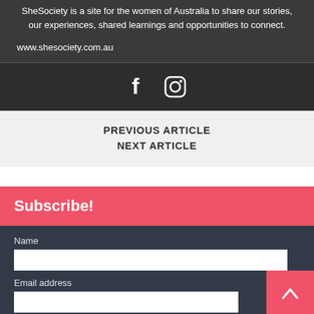SheSociety is a site for the women of Australia to share our stories, our experiences, shared learnings and opportunities to connect.
www.shesociety.com.au
[Figure (infographic): Social media icons: Facebook (f) and Instagram camera icon]
PREVIOUS ARTICLE
NEXT ARTICLE
Subscribe!
Name
Email address